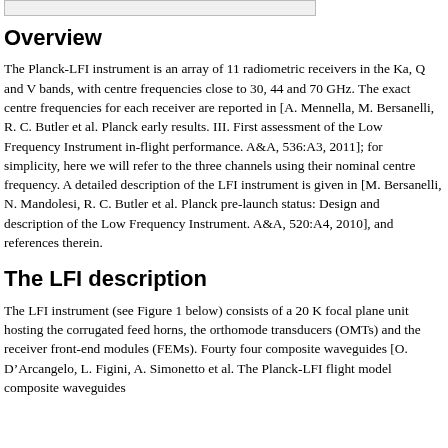[Figure (other): Gray top border box (partial figure or rule at top of page)]
Overview
The Planck-LFI instrument is an array of 11 radiometric receivers in the Ka, Q and V bands, with centre frequencies close to 30, 44 and 70 GHz. The exact centre frequencies for each receiver are reported in [A. Mennella, M. Bersanelli, R. C. Butler et al. Planck early results. III. First assessment of the Low Frequency Instrument in-flight performance. A&A, 536:A3, 2011]; for simplicity, here we will refer to the three channels using their nominal centre frequency. A detailed description of the LFI instrument is given in [M. Bersanelli, N. Mandolesi, R. C. Butler et al. Planck pre-launch status: Design and description of the Low Frequency Instrument. A&A, 520:A4, 2010], and references therein.
The LFI description
The LFI instrument (see Figure 1 below) consists of a 20 K focal plane unit hosting the corrugated feed horns, the orthomode transducers (OMTs) and the receiver front-end modules (FEMs). Fourty four composite waveguides [O. D’Arcangelo, L. Figini, A. Simonetto et al. The Planck-LFI flight model composite waveguides...